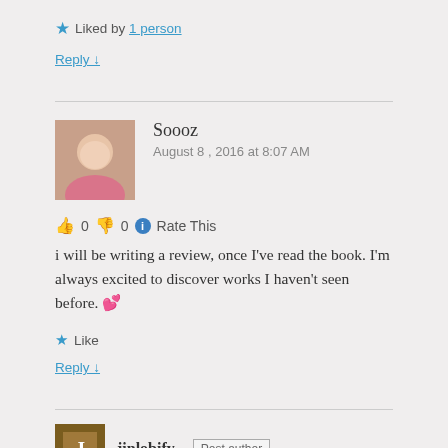Liked by 1 person
Reply ↓
Soooz
August 8, 2016 at 8:07 AM
👍 0 👎 0 ℹ Rate This
i will be writing a review, once I've read the book. I'm always excited to discover works I haven't seen before. 💕
Like
Reply ↓
jinlobify Post author